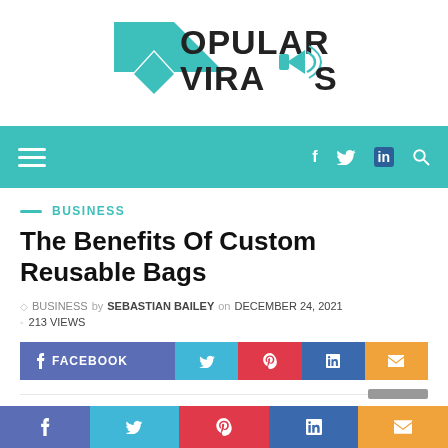[Figure (logo): Popular Virals logo with teal chevron/arrow icon and megaphone graphic, bold dark text reading POPULAR VIRALS]
Navigation bar with hamburger menu and social icons (f, twitter bird, in, search)
BUSINESS
The Benefits Of Custom Reusable Bags
BUSINESS by SEBASTIAN BAILEY on DECEMBER 24, 2021 · 213 VIEWS
[Figure (infographic): Social share buttons row: FACEBOOK (blue-purple), Twitter bird (light blue), Pinterest (red), LinkedIn (dark blue), Email (orange)]
Bottom sticky share bar: Facebook, Twitter, Pinterest, LinkedIn, Email